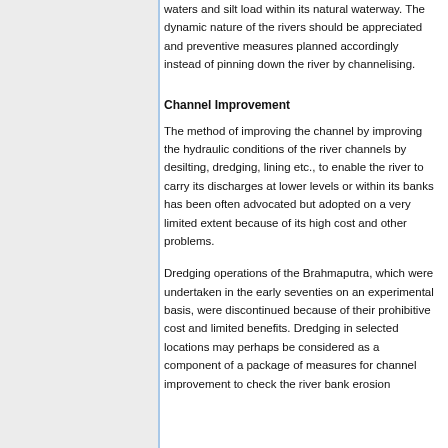waters and silt load within its natural waterway. The dynamic nature of the rivers should be appreciated and preventive measures planned accordingly instead of pinning down the river by channelising.
Channel Improvement
The method of improving the channel by improving the hydraulic conditions of the river channels by desilting, dredging, lining etc., to enable the river to carry its discharges at lower levels or within its banks has been often advocated but adopted on a very limited extent because of its high cost and other problems.
Dredging operations of the Brahmaputra, which were undertaken in the early seventies on an experimental basis, were discontinued because of their prohibitive cost and limited benefits. Dredging in selected locations may perhaps be considered as a component of a package of measures for channel improvement to check the river bank erosion